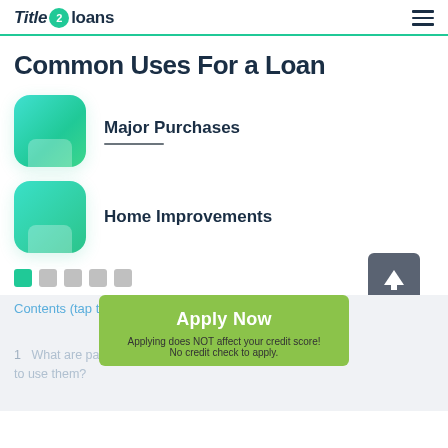[Figure (logo): Title 2 Loans logo with green circle containing '2' and hamburger menu icon]
Common Uses For a Loan
Major Purchases
Home Improvements
Contents (tap to hide) →
Apply Now
Applying does NOT affect your credit score! No credit check to apply.
1  What are payday loans, Spring Green and why to use them?